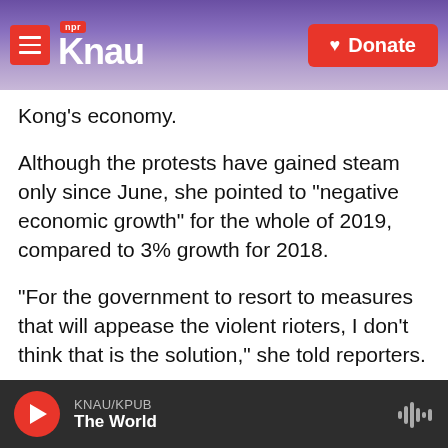KNAU NPR | Donate
Kong's economy.
Although the protests have gained steam only since June, she pointed to "negative economic growth" for the whole of 2019, compared to 3% growth for 2018.
"For the government to resort to measures that will appease the violent rioters, I don't think that is the solution," she told reporters.
"To get to the root of the problems, we must stop violence and let calmness restore in the city," she
KNAU/KPUB The World